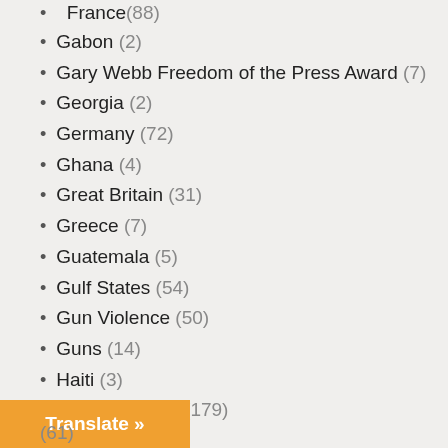France (88)
Gabon (2)
Gary Webb Freedom of the Press Award (7)
Georgia (2)
Germany (72)
Ghana (4)
Great Britain (31)
Greece (7)
Guatemala (5)
Gulf States (54)
Gun Violence (50)
Guns (14)
Haiti (3)
Health Reform (179)
History (156)
Human Rights (3,530)
Humor (24)
Hungary (2)
(61)